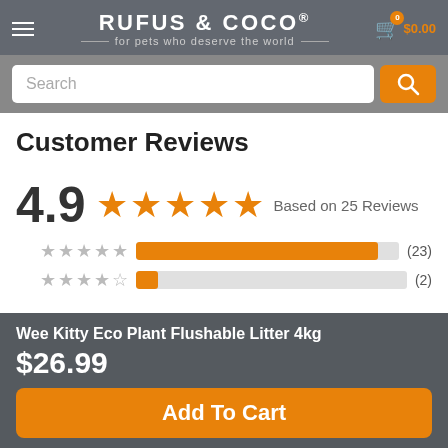[Figure (logo): Rufus & Coco logo with tagline 'for pets who deserve the world', hamburger menu icon, and cart icon showing $0.00]
[Figure (screenshot): Search input bar with orange search button]
Customer Reviews
[Figure (infographic): Rating summary showing 4.9 out of 5 stars based on 25 reviews, with bar chart showing 5-star (23) and 4-star (2) distributions]
Wee Kitty Eco Plant Flushable Litter 4kg
$26.99
Add To Cart